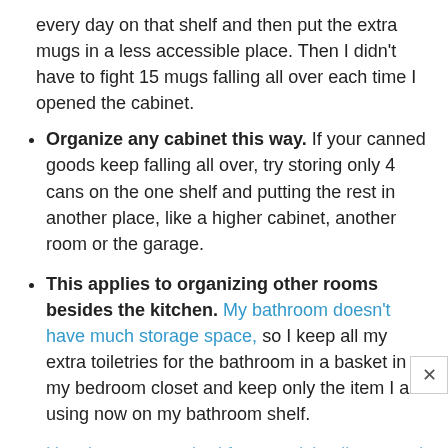every day on that shelf and then put the extra mugs in a less accessible place. Then I didn't have to fight 15 mugs falling all over each time I opened the cabinet.
Organize any cabinet this way. If your canned goods keep falling all over, try storing only 4 cans on the one shelf and putting the rest in another place, like a higher cabinet, another room or the garage.
This applies to organizing other rooms besides the kitchen. My bathroom doesn't have much storage space, so I keep all my extra toiletries for the bathroom in a basket in my bedroom closet and keep only the item I am using now on my bathroom shelf.
Use the same method for organizing linens and clothes. If you don't have a linen closet